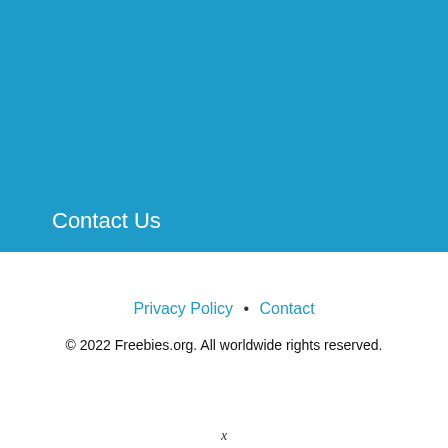[Figure (other): Large blue background section covering the top portion of the page]
Contact Us
Privacy Policy • Contact
© 2022 Freebies.org. All worldwide rights reserved.
x